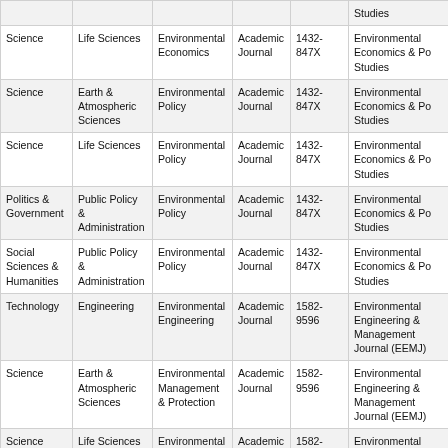|  |  |  |  |  | Studies |
| --- | --- | --- | --- | --- | --- |
| Science | Life Sciences | Environmental Economics | Academic Journal | 1432-847X | Environmental Economics & Po Studies |
| Science | Earth & Atmospheric Sciences | Environmental Policy | Academic Journal | 1432-847X | Environmental Economics & Po Studies |
| Science | Life Sciences | Environmental Policy | Academic Journal | 1432-847X | Environmental Economics & Po Studies |
| Politics & Government | Public Policy & Administration | Environmental Policy | Academic Journal | 1432-847X | Environmental Economics & Po Studies |
| Social Sciences & Humanities | Public Policy & Administration | Environmental Policy | Academic Journal | 1432-847X | Environmental Economics & Po Studies |
| Technology | Engineering | Environmental Engineering | Academic Journal | 1582-9596 | Environmental Engineering & Management Journal (EEMJ) |
| Science | Earth & Atmospheric Sciences | Environmental Management & Protection | Academic Journal | 1582-9596 | Environmental Engineering & Management Journal (EEMJ) |
| Science | Life Sciences | Environmental Management & Protection | Academic Journal | 1582-9596 | Environmental Engineering & Management Journal (EEMJ) |
| Technology | Engineering | Environmental Engineering | Academic Journal | 1226-1025 | Environmental Engineering Research |
| Science | Earth & Atmospheric Sciences | Environmental Sciences | Academic Journal | 2047-2382 | Environmental Evidence |
| Science | Life Sciences | Environmental Sciences | Academic Journal | 2047-2382 | Environmental Evidence |
|  | Earth & | Environmental | Academic |  | Environ... |